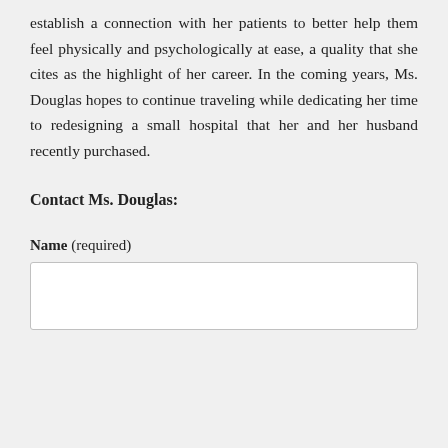establish a connection with her patients to better help them feel physically and psychologically at ease, a quality that she cites as the highlight of her career. In the coming years, Ms. Douglas hopes to continue traveling while dedicating her time to redesigning a small hospital that her and her husband recently purchased.
Contact Ms. Douglas:
Name (required)